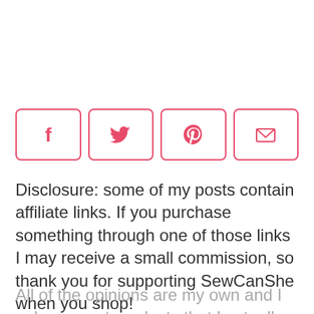[Figure (infographic): Four social share buttons in a row: Facebook (f icon), Twitter (bird icon), Pinterest (P icon), Email (envelope icon), each in a pink-bordered rounded rectangle]
Disclosure: some of my posts contain affiliate links. If you purchase something through one of those links I may receive a small commission, so thank you for supporting SewCanShe when you shop!
All of the opinions are my own and I only suggest products that I actually...